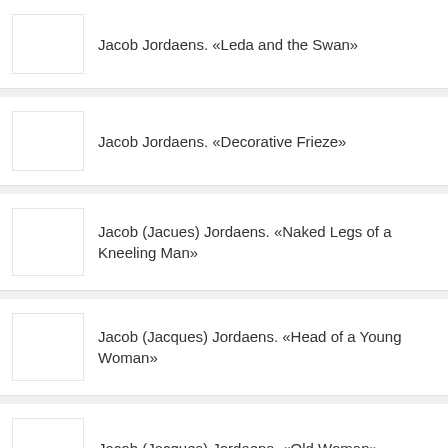Jacob Jordaens. «Leda and the Swan»
Jacob Jordaens. «Decorative Frieze»
Jacob (Jacues) Jordaens. «Naked Legs of a Kneeling Man»
Jacob (Jacques) Jordaens. «Head of a Young Woman»
Jacob (Jacques) Jordaens. «Old Woman»
Jacob (Jacques) Jordaens. «Portrait of Man in a Jester's...»
[Figure (screenshot): Mobile app overlay button with Russian text 'Открыть в приложении' (Open in app) and an X close button, styled with a crimson/red pill-shaped background]